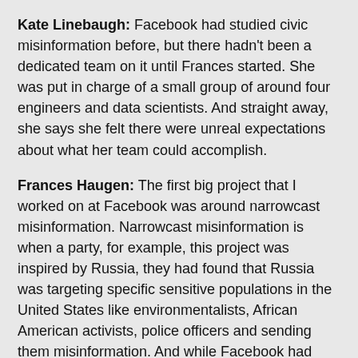Kate Linebaugh: Facebook had studied civic misinformation before, but there hadn't been a dedicated team on it until Frances started. She was put in charge of a small group of around four engineers and data scientists. And straight away, she says she felt there were unreal expectations about what her team could accomplish.
Frances Haugen: The first big project that I worked on at Facebook was around narrowcast misinformation. Narrowcast misinformation is when a party, for example, this project was inspired by Russia, they had found that Russia was targeting specific sensitive populations in the United States like environmentalists, African American activists, police officers and sending them misinformation. And while Facebook had known this was a possible problem since 2016, it's a very hard problem.
Kate Linebaugh: The project Frances was working on was to help stop a repeat of this in the 2020 election.